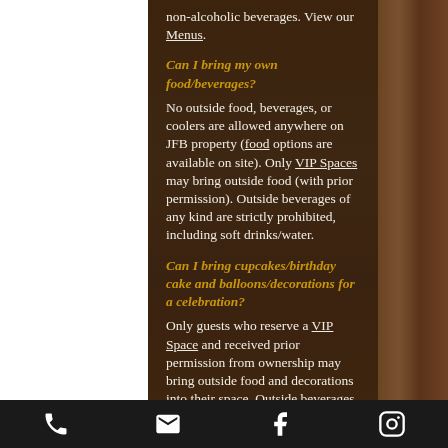non-alcoholic beverages. View our Menus.
Can I bring my own food/beverages?
No outside food, beverages, or coolers are allowed anywhere on JFB property (food options are available on site). Only VIP Spaces may bring outside food (with prior permission). Outside beverages of any kind are strictly prohibited, including soft drinks/water.
Can I bring cupcakes/birthday cake and balloons/decorations for a celebration?
Only guests who reserve a VIP Space and received prior permission from ownership may bring outside food and decorations into their space. Outside beverages
Phone | Email | Facebook | Instagram